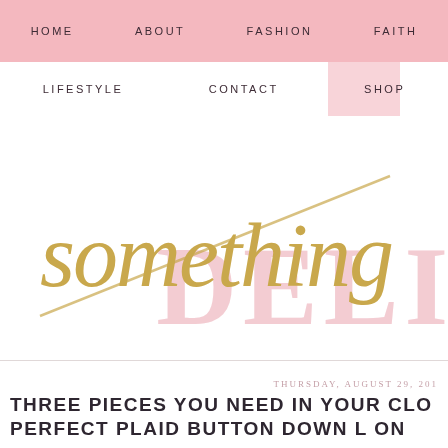HOME   ABOUT   FASHION   FAITH
LIFESTYLE   CONTACT   SHOP
[Figure (logo): Something Delightful blog logo: gold cursive script 'something' over large pink serif letters 'DELI']
THURSDAY, AUGUST 29, 2019
THREE PIECES YOU NEED IN YOUR CLO PERFECT PLAID BUTTON DOWN L ON